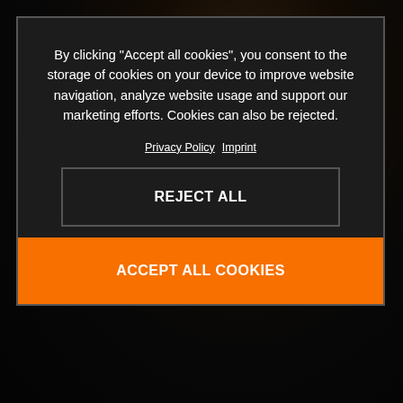[Figure (screenshot): Dark background with KTM motorcycle rider, partially visible behind cookie consent modal]
By clicking “Accept all cookies”, you consent to the storage of cookies on your device to improve website navigation, analyze website usage and support our marketing efforts. Cookies can also be rejected.
Privacy Policy  Imprint
This fully elec... ered air-cooled permanent magnet motor features an extremely compact and slim design that perfectly matches the KTM SX-E f... s. It’s also dust and waterproof which makes it wear and
REJECT ALL
ACCEPT ALL COOKIES